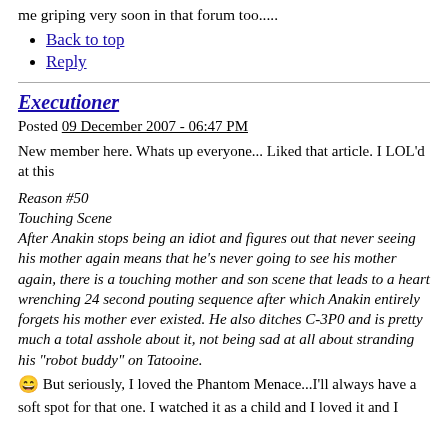me griping very soon in that forum too.....
Back to top
Reply
Executioner
Posted 09 December 2007 - 06:47 PM
New member here. Whats up everyone... Liked that article. I LOL'd at this
Reason #50
Touching Scene
After Anakin stops being an idiot and figures out that never seeing his mother again means that he's never going to see his mother again, there is a touching mother and son scene that leads to a heart wrenching 24 second pouting sequence after which Anakin entirely forgets his mother ever existed. He also ditches C-3P0 and is pretty much a total asshole about it, not being sad at all about stranding his "robot buddy" on Tatooine.
😂 But seriously, I loved the Phantom Menace...I'll always have a soft spot for that one. I watched it as a child and I loved it and I